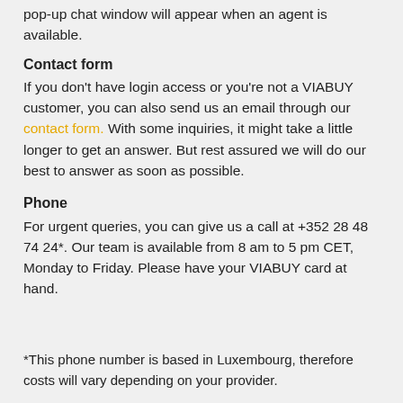pop-up chat window will appear when an agent is available.
Contact form
If you don't have login access or you're not a VIABUY customer, you can also send us an email through our contact form. With some inquiries, it might take a little longer to get an answer. But rest assured we will do our best to answer as soon as possible.
Phone
For urgent queries, you can give us a call at +352 28 48 74 24*. Our team is available from 8 am to 5 pm CET, Monday to Friday. Please have your VIABUY card at hand.
*This phone number is based in Luxembourg, therefore costs will vary depending on your provider.